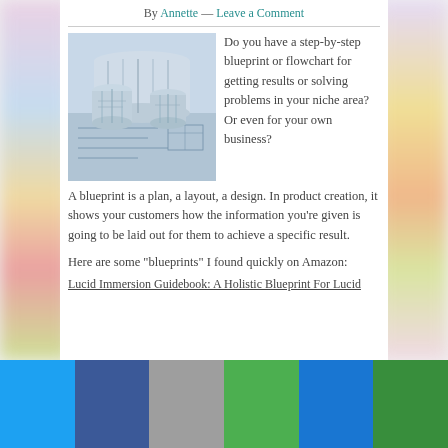By Annette — Leave a Comment
[Figure (photo): Rolled up architectural blueprint papers on a flat blueprint drawing]
Do you have a step-by-step blueprint or flowchart for getting results or solving problems in your niche area?  Or even for your own business?
A blueprint is a plan, a layout, a design. In product creation, it shows your customers how the information you're given is going to be laid out for them to achieve a specific result.
Here are some “blueprints” I found quickly on Amazon:
Lucid Immersion Guidebook: A Holistic Blueprint For Lucid